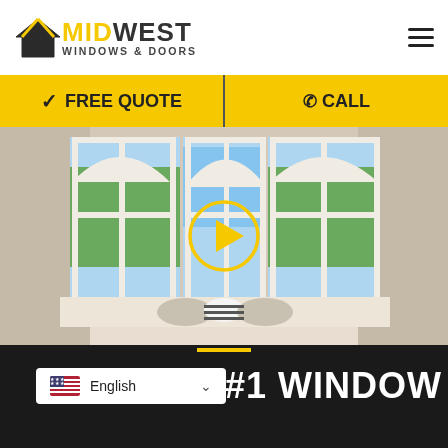[Figure (logo): Midwest Windows & Doors logo with house/roof icon]
✓ FREE QUOTE
☎ CALL
[Figure (photo): Interior room with three large white arched windows and a video play button overlay]
[Figure (screenshot): Bottom dark section with yellow underline, English language selector (US flag), and white bold text '#1 WINDOW']